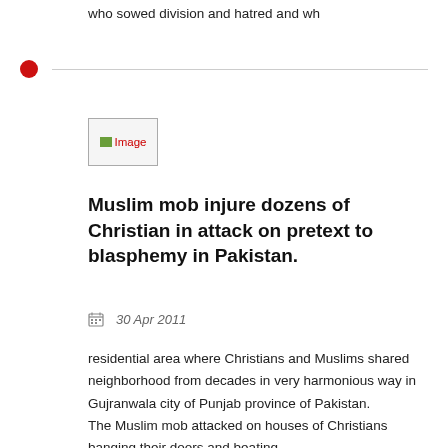who sowed division and hatred and wh
[Figure (other): Red dot divider with horizontal line]
[Figure (photo): Image placeholder]
Muslim mob injure dozens of Christian in attack on pretext to blasphemy in Pakistan.
30 Apr 2011
residential area where Christians and Muslims shared neighborhood from decades in very harmonious way in Gujranwala city of Punjab province of Pakistan.
The Muslim mob attacked on houses of Christians banging their doors and beating